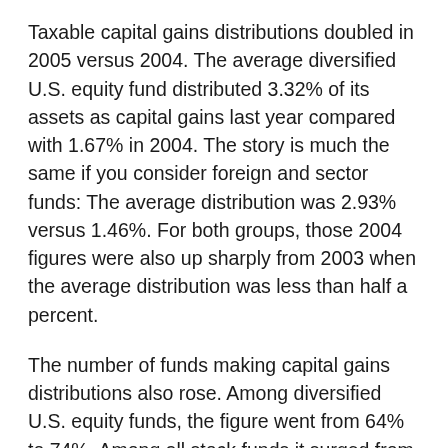Taxable capital gains distributions doubled in 2005 versus 2004. The average diversified U.S. equity fund distributed 3.32% of its assets as capital gains last year compared with 1.67% in 2004. The story is much the same if you consider foreign and sector funds: The average distribution was 2.93% versus 1.46%. For both groups, those 2004 figures were also up sharply from 2003 when the average distribution was less than half a percent.
The number of funds making capital gains distributions also rose. Among diversified U.S. equity funds, the figure went from 64% to 74%. Among all stock funds it surged from 69% to 79%.
The reason capital gains spiked is that 2005 was the third positive year in a row for most equity markets. Moreover, small caps have been on a five-year tear and therefore